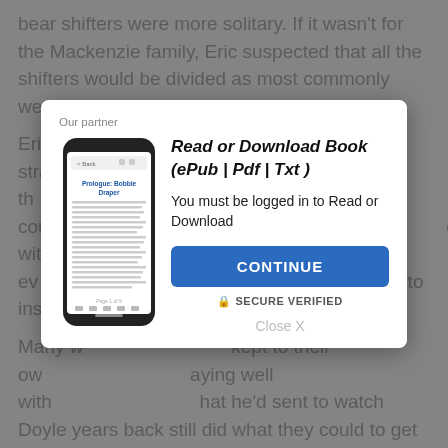bear shifters were more solitary. If it wasn't for the Mackenzie family, Eric suspected that all the shifters would be divided as most commonly were. But yet: Doyle's pack thrived.
Eric did ... Doyle's strange ... into while th ... a. Why couldn't ... laughab ... ces with other pa ... care. He'd ev ... a cougar ... to inspire a ...
Many w ... kept to their ow ... aying well with ... hat he'd sent to watch Doyle years back still did what they could to get on the grizzly shifter's nerves.
[Figure (screenshot): Modal dialog overlay with phone image, 'Read or Download Book (ePub | Pdf | Txt)' title, login prompt, CONTINUE button, SECURE VERIFIED label, and Close X link]
Our partner
Read or Download Book (ePub | Pdf | Txt )
You must be logged in to Read or Download
CONTINUE
SECURE VERIFIED
Close X